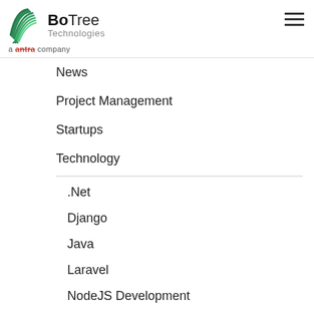[Figure (logo): BoTree Technologies logo — green layered leaf/wave icon with 'BoTree Technologies' text and 'a antra company' tagline]
News
Project Management
Startups
Technology
.Net
Django
Java
Laravel
NodeJS Development
Python
React JS